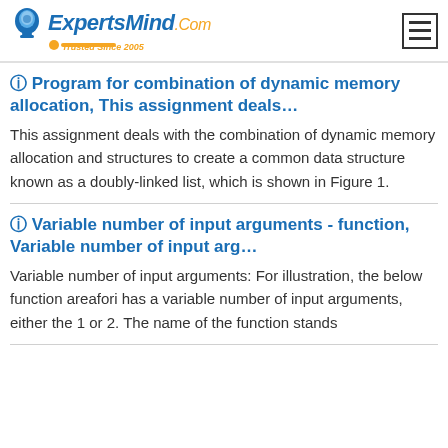ExpertsMind.Com Trusted Since 2005
⊙ Program for combination of dynamic memory allocation, This assignment deals…
This assignment deals with the combination of dynamic memory allocation and structures to create a common data structure known as a doubly-linked list, which is shown in Figure 1.
⊙ Variable number of input arguments - function, Variable number of input arg…
Variable number of input arguments: For illustration, the below function areafori has a variable number of input arguments, either the 1 or 2. The name of the function stands